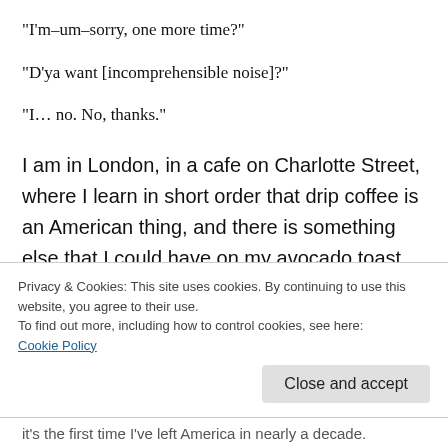“I’m–um–sorry, one more time?”
“D’ya want [incomprehensible noise]?”
“I… no. No, thanks.”
I am in London, in a cafe on Charlotte Street, where I learn in short order that drip coffee is an American thing, and there is something else that I could have on my avocado toast, but I don’t know what it is and I’m
Privacy & Cookies: This site uses cookies. By continuing to use this website, you agree to their use.
To find out more, including how to control cookies, see here:
Cookie Policy
Close and accept
it’s the first time I’ve left America in nearly a decade.